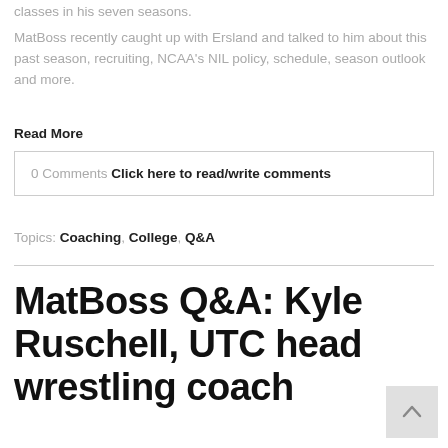classes in his seven seasons.
MatBoss recently caught up with Ersland and talked to him about this past season, recruiting, NCAA's NIL policy, schedule, season outlook and more.
Read More
0 Comments Click here to read/write comments
Topics: Coaching, College, Q&A
MatBoss Q&A: Kyle Ruschell, UTC head wrestling coach